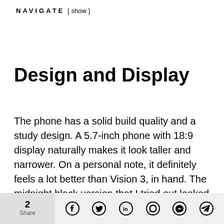NAVIGATE [ show ]
Design and Display
The phone has a solid build quality and a study design. A 5.7-inch phone with 18:9 display naturally makes it look taller and narrower. On a personal note, it definitely feels a lot better than Vision 3, in hand. The midnight black version that I tried out looked better than your average-looking smartphone with those shiny round edges. The phone comes with a 2.5D glass and plastic surface at the back.
2 Share